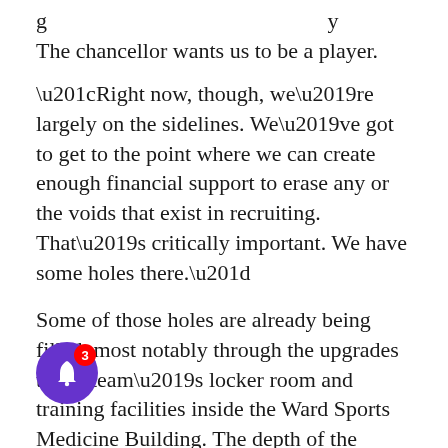g … y The chancellor wants us to be a player.
“Right now, though, we’re largely on the sidelines. We’ve got to get to the point where we can create enough financial support to erase any or the voids that exist in recruiting. That’s critically important. We have some holes there.”
Some of those holes are already being filled, most notably through the upgrades to the team’s locker room and training facilities inside the Ward Sports Medicine Building. The depth of the Pirates’ talent pool has also been improved with two strong recruiting classes and another one in the process of being assembled.
It’s undeniable that progress has been made, but